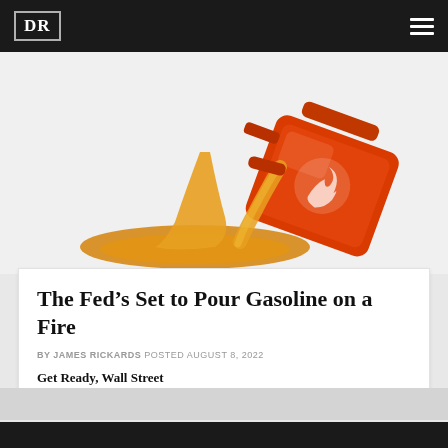DR
[Figure (illustration): Illustration of an orange/red gas can tipped on its side spilling golden/yellow liquid (gasoline) onto a surface, viewed from above on a light gray background.]
The Fed’s Set to Pour Gasoline on a Fire
BY JAMES RICKARDS POSTED AUGUST 8, 2022
Get Ready, Wall Street